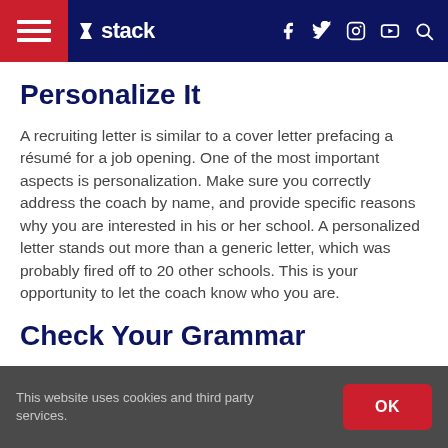stack
Personalize It
A recruiting letter is similar to a cover letter prefacing a résumé for a job opening. One of the most important aspects is personalization. Make sure you correctly address the coach by name, and provide specific reasons why you are interested in his or her school. A personalized letter stands out more than a generic letter, which was probably fired off to 20 other schools. This is your opportunity to let the coach know who you are.
Check Your Grammar
This website uses cookies and third party services.